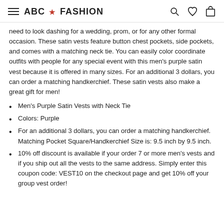ABC ★ FASHION
need to look dashing for a wedding, prom, or for any other formal occasion. These satin vests feature button chest pockets, side pockets, and comes with a matching neck tie. You can easily color coordinate outfits with people for any special event with this men's purple satin vest because it is offered in many sizes. For an additional 3 dollars, you can order a matching handkerchief. These satin vests also make a great gift for men!
Men's Purple Satin Vests with Neck Tie
Colors: Purple
For an additional 3 dollars, you can order a matching handkerchief. Matching Pocket Square/Handkerchief Size is: 9.5 inch by 9.5 inch.
10% off discount is available if your order 7 or more men's vests and if you ship out all the vests to the same address. Simply enter this coupon code: VEST10 on the checkout page and get 10% off your group vest order!